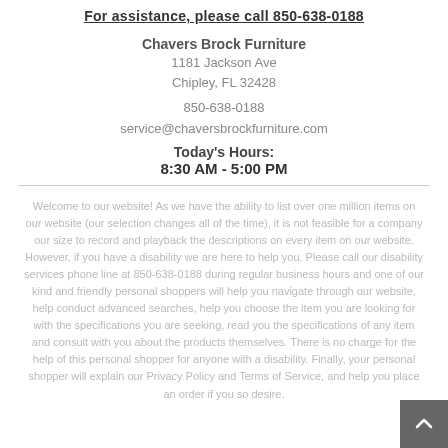For assistance, please call 850-638-0188
Chavers Brock Furniture
1181 Jackson Ave
Chipley, FL 32428
850-638-0188
service@chaversbrockfurniture.com
Today's Hours:
8:30 AM - 5:00 PM
Welcome to our website! As we have the ability to list over one million items on our website (our selection changes all of the time), it is not feasible for a company our size to record and playback the descriptions on every item on our website. However, if you have a disability we are here to help you. Please call our disability services phone line at 850-638-0188 during regular business hours and one of our kind and friendly personal shoppers will help you navigate through our website, help conduct advanced searches, help you choose the item you are looking for with the specifications you are seeking, read you the specifications of any item and consult with you about the products themselves. There is no charge for the help of this personal shopper for anyone with a disability. Finally, your personal shopper will explain our Privacy Policy and Terms of Service, and help you place an order if you so desire.